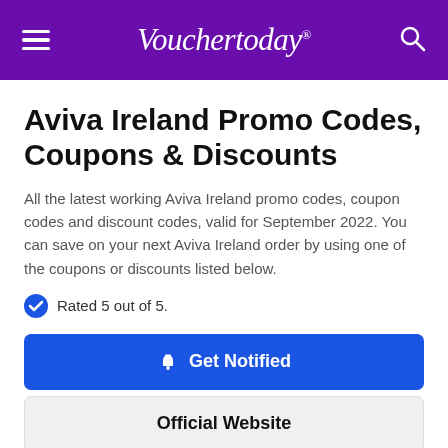Vouchertoday
Aviva Ireland Promo Codes, Coupons & Discounts
All the latest working Aviva Ireland promo codes, coupon codes and discount codes, valid for September 2022. You can save on your next Aviva Ireland order by using one of the coupons or discounts listed below.
Rated 5 out of 5.
Get Notified
Official Website